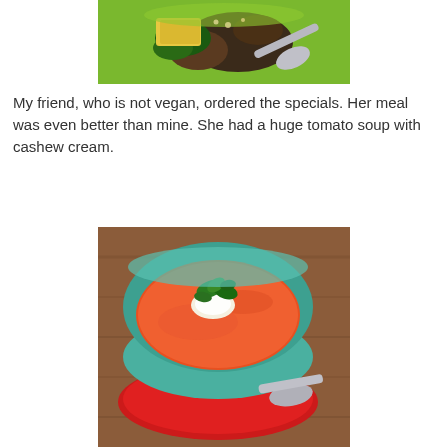[Figure (photo): Top portion of a food photo showing a green bowl with mushrooms, spinach, polenta and a metal spoon]
My friend, who is not vegan, ordered the specials. Her meal was even better than mine. She had a huge tomato soup with cashew cream.
[Figure (photo): A teal/turquoise bowl of tomato soup topped with cashew cream and fresh basil leaves, sitting on a red plate with a metal spoon, on a wooden table]